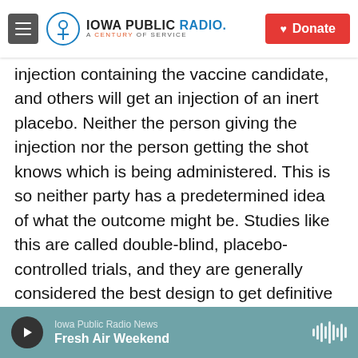Iowa Public Radio — A Century of Service
injection containing the vaccine candidate, and others will get an injection of an inert placebo. Neither the person giving the injection nor the person getting the shot knows which is being administered. This is so neither party has a predetermined idea of what the outcome might be. Studies like this are called double-blind, placebo-controlled trials, and they are generally considered the best design to get definitive answers.
Researchers chose enrolling 30,000 people as a target for pragmatic reasons. To test a vaccine, it needs to be given to enough people who will
Iowa Public Radio News — Fresh Air Weekend